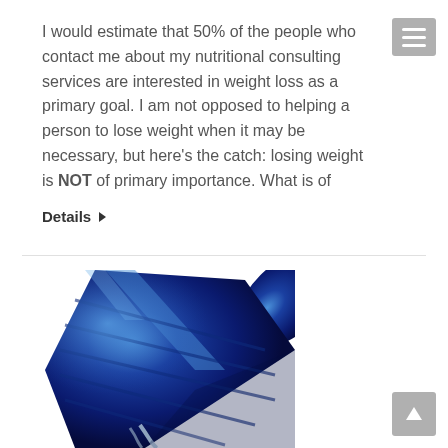I would estimate that 50% of the people who contact me about my nutritional consulting services are interested in weight loss as a primary goal. I am not opposed to helping a person to lose weight when it may be necessary, but here’s the catch: losing weight is NOT of primary importance. What is of
Details ▶
[Figure (photo): Close-up photo of a blue glass bottle neck pouring liquid, on a white background]